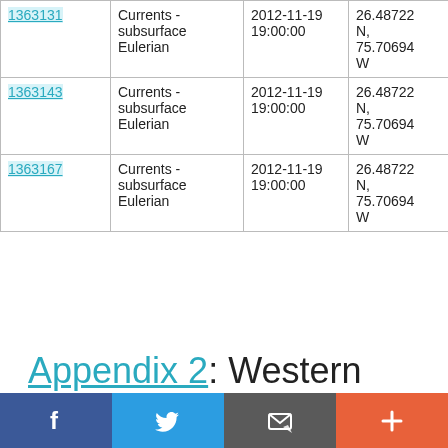| ID | Type | Date/Time | Location | Platform |
| --- | --- | --- | --- | --- |
| 1363131 (partial) | Currents - subsurface Eulerian | 2012-11-19 19:00:00 | 26.48722 N, 75.70694 W | RRS Discovery D382 |
| 1363143 | Currents - subsurface Eulerian | 2012-11-19 19:00:00 | 26.48722 N, 75.70694 W | RRS Discovery D382 |
| 1363167 | Currents - subsurface Eulerian | 2012-11-19 19:00:00 | 26.48722 N, 75.70694 W | RRS Discovery D382 |
Appendix 2: Western